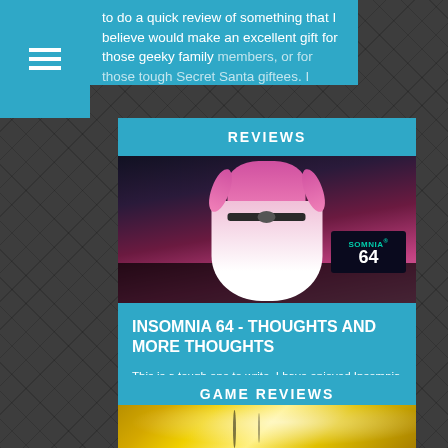to do a quick review of something that I believe would make an excellent gift for those geeky family members, or for those tough Secret Santa giftees. I
REVIEWS
[Figure (photo): A cosplayer in a pink princess dress with a belt, standing on a stage. A screen in the background shows 'Insomnia 64' logo in teal and white.]
INSOMNIA 64 - THOUGHTS AND MORE THOUGHTS
This is a tough one to write. I have enjoyed Insomnia these past few years, thankfully having been able to get tickets and making the long journey south to the NEC. Insomnia 64 was no different, even though it did feel a bit less active than past years events.
GAME REVIEWS
[Figure (photo): Partial view of a yellow/gold action game artwork with anime-style character silhouettes.]